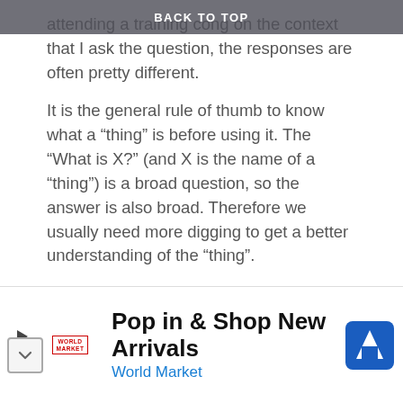BACK TO TOP
attending a training co… depending on the context that I ask the question, the responses are often pretty different.
It is the general rule of thumb to know what a “thing” is before using it. The “What is X?” (and X is the name of a “thing”) is a broad question, so the answer is also broad. Therefore we usually need more digging to get a better understanding of the “thing”.
In our case, the “thing” is Power BI, so the question is “What is Power BI?”. And the answer is:
“Power BI is the Business Analytics platform part of a … SaaS platform called Power Platform offering fro…
[Figure (screenshot): Advertisement banner: Pop in & Shop New Arrivals – World Market]